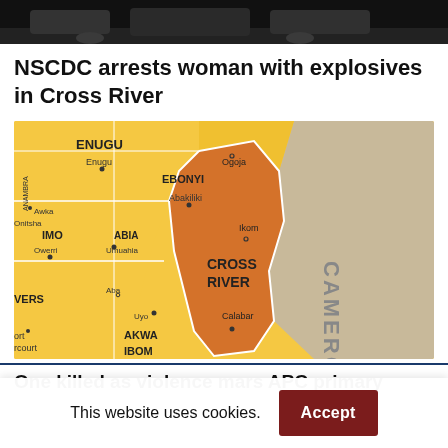[Figure (photo): Top of page showing partial image of vehicles, dark background]
NSCDC arrests woman with explosives in Cross River
[Figure (map): Map of southeastern Nigeria showing Cross River state highlighted in orange, surrounded by Enugu, Ebonyi, Imo, Abia, Akwa Ibom states in yellow, with Cameroon in beige to the east. Cities labeled include Enugu, Ogoja, Abakiliki, Ikom, Owerri, Umuahia, Aba, Calabar, Uyo.]
One killed as violence mars APC primary
This website uses cookies.